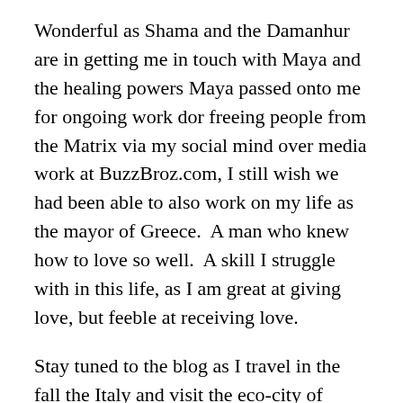Wonderful as Shama and the Damanhur are in getting me in touch with Maya and the healing powers Maya passed onto me for ongoing work dor freeing people from the Matrix via my social mind over media work at BuzzBroz.com, I still wish we had been able to also work on my life as the mayor of Greece.  A man who knew how to love so well.  A skill I struggle with in this life, as I am great at giving love, but feeble at receiving love.
Stay tuned to the blog as I travel in the fall the Italy and visit the eco-city of Damanhur itself in search of the answers.  My next life the Damanhur want me to study is that of a 19th century Russian physicist.  Fortunately, you get clues of who you were after your first class.  So